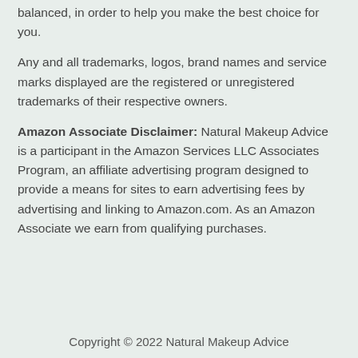balanced, in order to help you make the best choice for you.
Any and all trademarks, logos, brand names and service marks displayed are the registered or unregistered trademarks of their respective owners.
Amazon Associate Disclaimer: Natural Makeup Advice is a participant in the Amazon Services LLC Associates Program, an affiliate advertising program designed to provide a means for sites to earn advertising fees by advertising and linking to Amazon.com. As an Amazon Associate we earn from qualifying purchases.
Copyright © 2022 Natural Makeup Advice